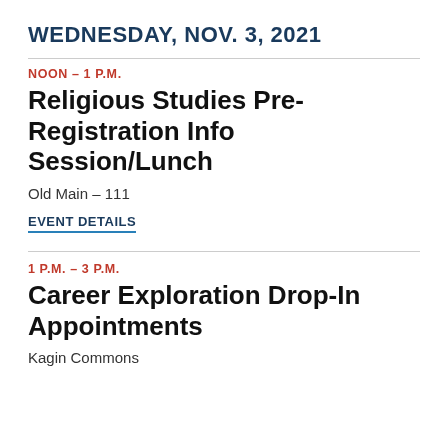WEDNESDAY, NOV. 3, 2021
NOON – 1 P.M.
Religious Studies Pre-Registration Info Session/Lunch
Old Main – 111
EVENT DETAILS
1 P.M. – 3 P.M.
Career Exploration Drop-In Appointments
Kagin Commons